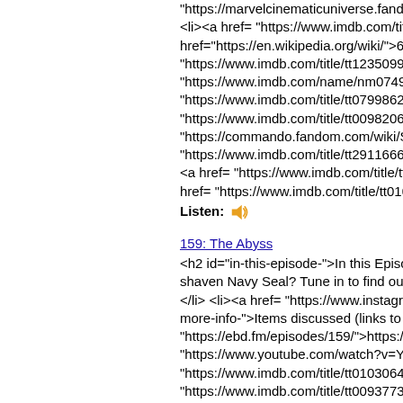"https://marvelcinematicuniverse.fandom.com/... <li><a href= "https://www.imdb.com/title/tt011... href="https://en.wikipedia.org/wiki/">6 degree... "https://www.imdb.com/title/tt1235099/?ref_=n... "https://www.imdb.com/name/nm0749263/?re... "https://www.imdb.com/title/tt0799862/?ref_=n... "https://www.imdb.com/title/tt0098206/?ref_=n... "https://commando.fandom.com/wiki/Surplus_... "https://www.imdb.com/title/tt2911666/?ref_=n... <a href= "https://www.imdb.com/title/tt011016... href= "https://www.imdb.com/title/tt0108399/?...
Listen: 🔊
159: The Abyss
<h2 id="in-this-episode-">In this Episode:</h2... shaven Navy Seal? Tune in to find out!</p> <... </li> <li><a href= "https://www.instagram.com... more-info-">Items discussed (links to more in... "https://ebd.fm/episodes/159/">https://ebd.fm... "https://www.youtube.com/watch?v=YctOKgW... "https://www.imdb.com/title/tt0103064/?ref_=n... "https://www.imdb.com/title/tt0093773/?ref_=n... "https://www.imdb.com/title/tt0099810/?ref_=n... "https://www.imdb.com/title/tt0499549/?ref_=n... "https://www.imdb.com/title/tt0111503/?ref_=n... "https://www.imdb.com/title/tt0111756/?ref_=n... "https://www.imdb.com/title/tt0482571/?ref_=n... "https://www.imdb.com/title/tt0097737/?ref_=n... href= "https://www.imdb.com/title/tt1477834/c... ref_=tt_cl_c_2">Mavic</a></li> <li><a href=...